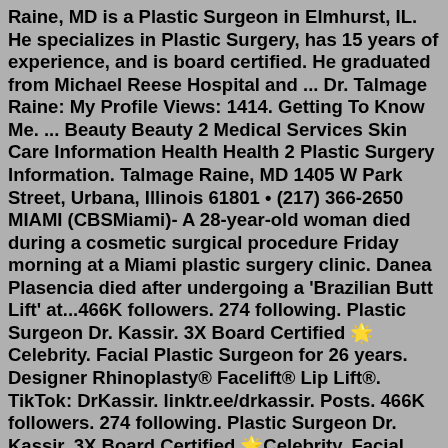Raine, MD is a Plastic Surgeon in Elmhurst, IL. He specializes in Plastic Surgery, has 15 years of experience, and is board certified. He graduated from Michael Reese Hospital and ... Dr. Talmage Raine: My Profile Views: 1414. Getting To Know Me. ... Beauty Beauty 2 Medical Services Skin Care Information Health Health 2 Plastic Surgery Information. Talmage Raine, MD 1405 W Park Street, Urbana, Illinois 61801 • (217) 366-2650 MIAMI (CBSMiami)- A 28-year-old woman died during a cosmetic surgical procedure Friday morning at a Miami plastic surgery clinic. Danea Plasencia died after undergoing a 'Brazilian Butt Lift' at...466K followers. 274 following. Plastic Surgeon Dr. Kassir. 3X Board Certified 🌟Celebrity. Facial Plastic Surgeon for 26 years. Designer Rhinoplasty® Facelift® Lip Lift®. TikTok: DrKassir. linktr.ee/drkassir. Posts. 466K followers. 274 following. Plastic Surgeon Dr. Kassir. 3X Board Certified 🌟Celebrity. Facial Plastic Surgeon for 26 years. Designer Rhinoplasty® Facelift® Lip Lift®. TikTok: DrKassir. linktr.ee/drkassir. Posts Dr.